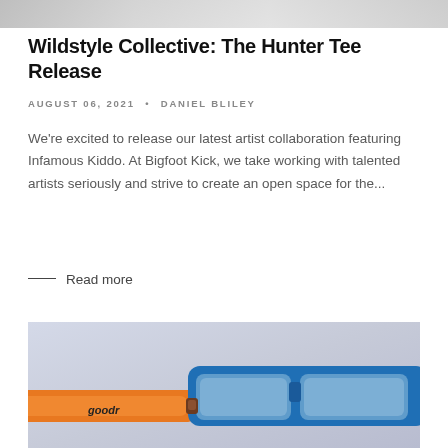[Figure (photo): Top portion of a photo, cropped, showing blurred subject at top of page]
Wildstyle Collective: The Hunter Tee Release
AUGUST 06, 2021 • DANIEL BLILEY
We're excited to release our latest artist collaboration featuring Infamous Kiddo. At Bigfoot Kick, we take working with talented artists seriously and strive to create an open space for the...
— Read more
[Figure (photo): Product photo of Goodr brand sunglasses with orange and blue frame on a light blue-grey background]